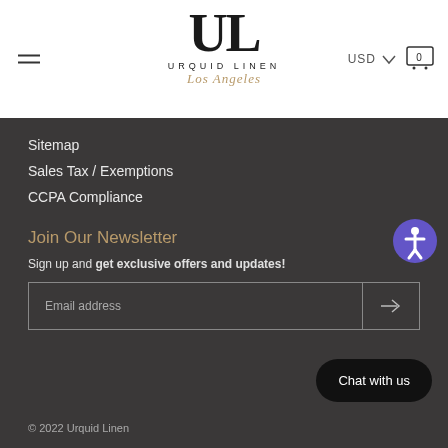[Figure (logo): Urquid Linen Los Angeles logo with large UL monogram]
Sitemap
Sales Tax / Exemptions
CCPA Compliance
Join Our Newsletter
Sign up and get exclusive offers and updates!
© 2022 Urquid Linen